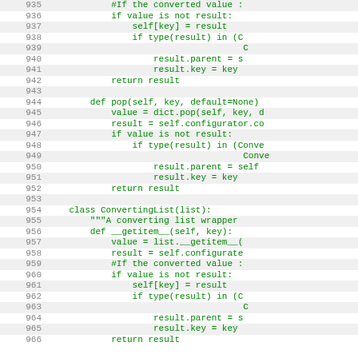[Figure (screenshot): Source code listing showing Python code for ConvertingDict and ConvertingList classes, lines 935-966, displayed with alternating light gray and white row backgrounds, green monospace text, and line numbers in gray.]